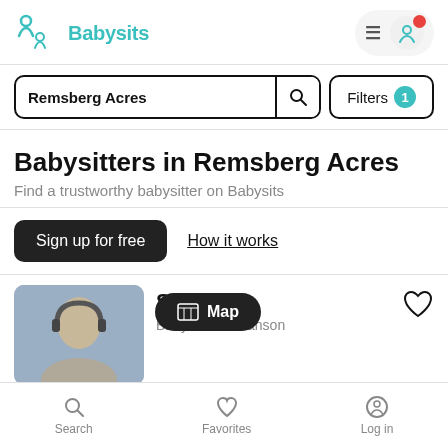[Figure (logo): Babysits logo with teal parent-child icon and teal text 'Babysits']
[Figure (screenshot): Header navigation with hamburger menu and avatar icon with red notification dot]
Remsberg Acres
Filters 1
Babysitters in Remsberg Acres
Find a trustworthy babysitter on Babysits
Sign up for free
How it works
[Figure (photo): Babysitter profile photo - a young woman with headphones]
San...20
Babysitter in Ranson
Map
Search
Favorites
Log in